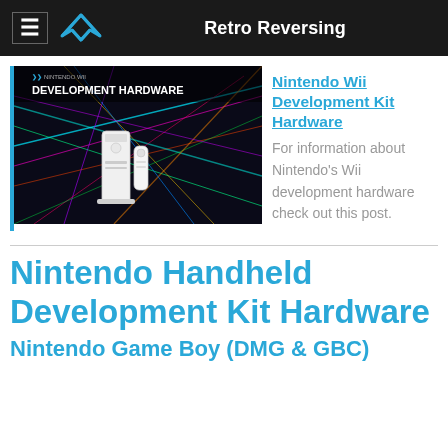Retro Reversing
[Figure (screenshot): Nintendo Wii Development Hardware promotional image showing a Wii console with remote against a colorful laser light background]
Nintendo Wii Development Kit Hardware
For information about Nintendo's Wii development hardware check out this post.
Nintendo Handheld Development Kit Hardware
Nintendo Game Boy (DMG & GBC)